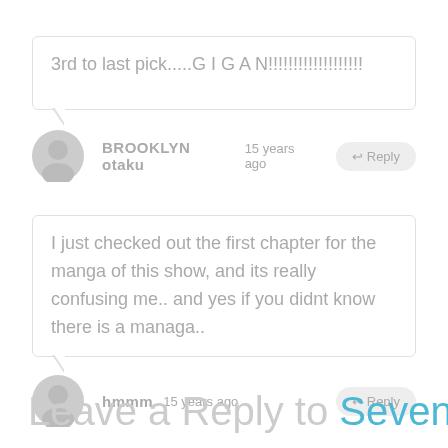3rd to last pick.....G I G A N!!!!!!!!!!!!!!!!!!!
BROOKLYN otaku  15 years ago
I just checked out the first chapter for the manga of this show, and its really confusing me.. and yes if you didnt know there is a managa..
hmmm  15 years ago
Leave a Reply to Sevenfold